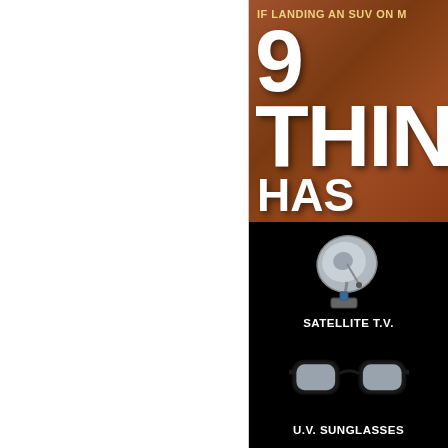[Figure (infographic): Infographic page partially visible. Left half is white/blank. Right half shows: top orange-brown Mars surface banner with text 'IF LANDING AN SUV ON M...' '9 THING...' 'HAS HEL...' in white bold text. Bottom black section shows icons with labels: satellite dish labeled 'SATELLITE T.V.' and sunglasses labeled 'U.V. SUNGLASSES', with partial items on the right edge.]